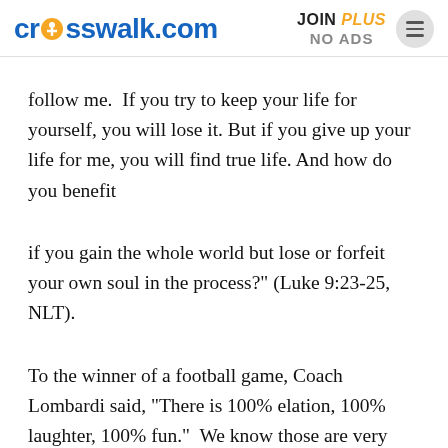crosswalk.com   JOIN PLUS NO ADS
follow me.  If you try to keep your life for yourself, you will lose it. But if you give up your life for me, you will find true life. And how do you benefit
if you gain the whole world but lose or forfeit your own soul in the process?" (Luke 9:23-25, NLT).
To the winner of a football game, Coach Lombardi said, "There is 100% elation, 100% laughter, 100% fun."  We know those are very temporary, fleeting